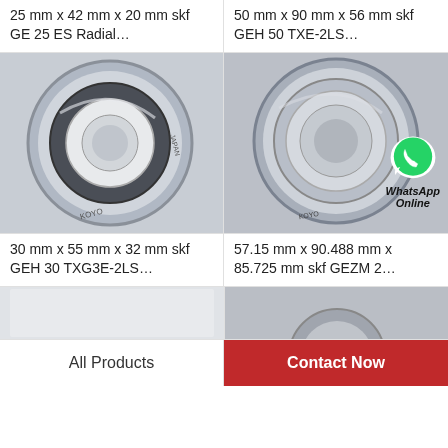25 mm x 42 mm x 20 mm skf GE 25 ES Radial…
50 mm x 90 mm x 56 mm skf GEH 50 TXE-2LS…
[Figure (photo): KOYO bearing product photo - round ball bearing with rubber seal, light gray background]
[Figure (photo): KOYO bearing product photo with WhatsApp Online overlay - round ball bearing, silver metallic, gray background]
30 mm x 55 mm x 32 mm skf GEH 30 TXG3E-2LS…
57.15 mm x 90.488 mm x 85.725 mm skf GEZM 2…
[Figure (photo): Partial bearing product preview image, light gray background]
[Figure (photo): Partial bearing product preview image, darker gray background]